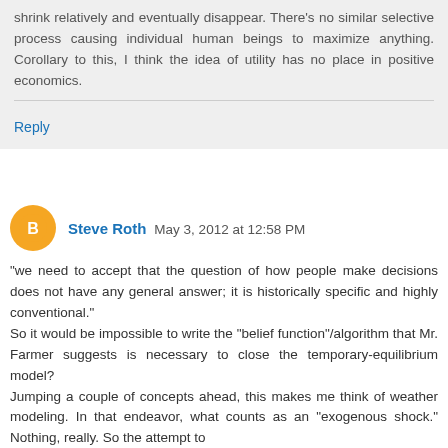shrink relatively and eventually disappear. There's no similar selective process causing individual human beings to maximize anything. Corollary to this, I think the idea of utility has no place in positive economics.
Reply
Steve Roth  May 3, 2012 at 12:58 PM
"we need to accept that the question of how people make decisions does not have any general answer; it is historically specific and highly conventional."
So it would be impossible to write the "belief function"/algorithm that Mr. Farmer suggests is necessary to close the temporary-equilibrium model?
Jumping a couple of concepts ahead, this makes me think of weather modeling. In that endeavor, what counts as an "exogenous shock." Nothing, really. So the attempt to